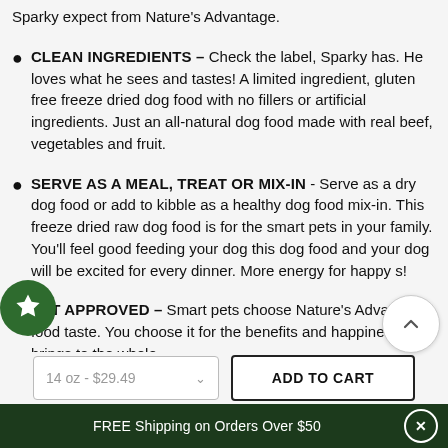Sparky expect from Nature's Advantage.
CLEAN INGREDIENTS – Check the label, Sparky has. He loves what he sees and tastes! A limited ingredient, gluten free freeze dried dog food with no fillers or artificial ingredients. Just an all-natural dog food made with real beef, vegetables and fruit.
SERVE AS A MEAL, TREAT OR MIX-IN - Serve as a dry dog food or add to kibble as a healthy dog food mix-in. This freeze dried raw dog food is for the smart pets in your family. You'll feel good feeding your dog this dog food and your dog will be excited for every dinner. More energy for happy s!
PET APPROVED – Smart pets choose Nature's Advantage food taste. You choose it for the benefits and happiness it brings to the whole
14 oz - $29.49
ADD TO CART
FREE Shipping on Orders Over $50